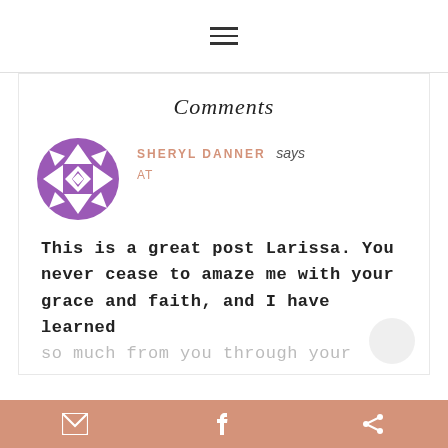≡ (hamburger menu icon)
Comments
SHERYL DANNER says
AT
[Figure (illustration): Purple geometric patterned circle avatar with triangles and diamond shapes]
This is a great post Larissa. You never cease to amaze me with your grace and faith, and I have learned so much from you through your
Email | Pinterest | Share icons